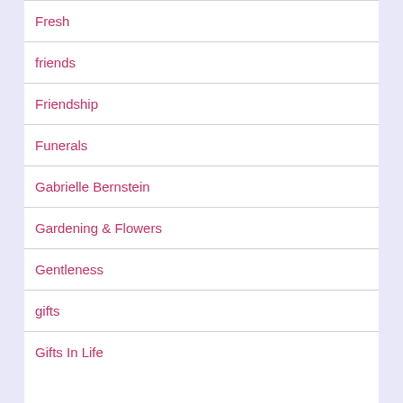Fresh
friends
Friendship
Funerals
Gabrielle Bernstein
Gardening & Flowers
Gentleness
gifts
Gifts In Life